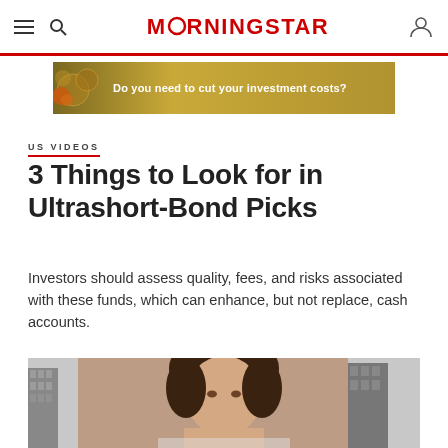MORNINGSTAR
[Figure (photo): Advertisement banner: 'Do you need to cut your investment costs?' on a golden/olive background with decorative circular graphic elements.]
US VIDEOS
3 Things to Look for in Ultrashort-Bond Picks
Investors should assess quality, fees, and risks associated with these funds, which can enhance, but not replace, cash accounts.
[Figure (photo): Photo of a woman with brown hair, photographed outdoors with buildings visible in the background.]